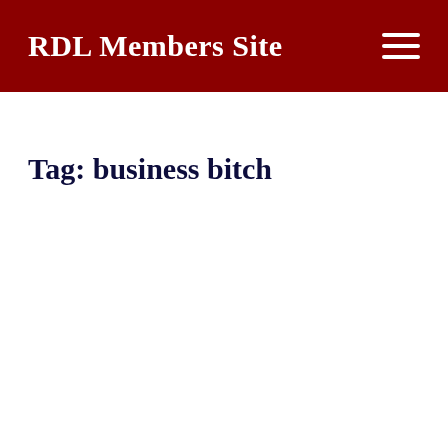RDL Members Site
Tag: business bitch